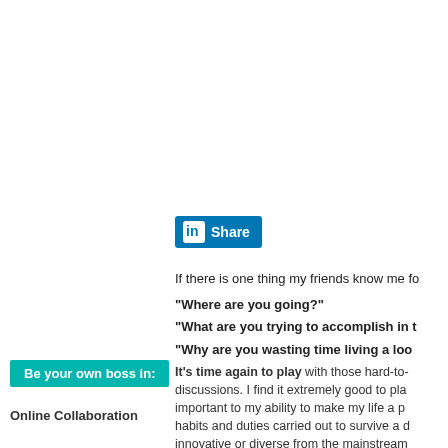[Figure (screenshot): LinkedIn Share button with blue background and 'in' icon]
If there is one thing my friends know me fo
"Where are you going?"
"What are you trying to accomplish in t
"Why are you wasting time living a loo
It's time again to play with those hard-to- discussions. I find it extremely good to pla important to my ability to make my life a p habits and duties carried out to survive a d innovative or diverse from the mainstream
[Figure (photo): Dave_Pollard.jpg image placeholder]
[Figure (photo): robingood.jpg image placeholder]
These are the five questions that Dave Po delightful treat called the Interview Game
Be your own boss in:
Online Collaboration